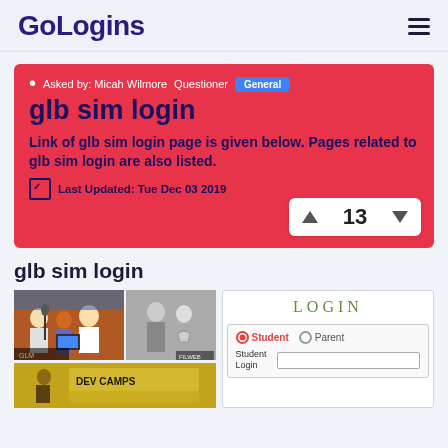GoLogins
Asked by: Micah Wilmore  Questioner  General
glb sim login
Link of glb sim login page is given below. Pages related to glb sim login are also listed.
Last Updated: Tue Dec 03 2019
13
glb sim login
[Figure (photo): Grid of photos showing people at events and a banner reading DEV CAMPS]
[Figure (screenshot): Login panel with LOGIN heading, Student/Parent radio buttons, and Student Login text field]